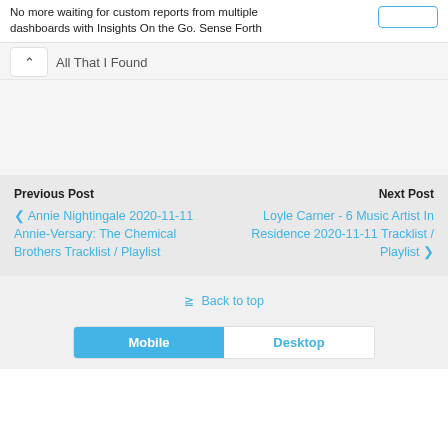No more waiting for custom reports from multiple dashboards with Insights On the Go. Sense Forth
All That I Found
Previous Post
‹ Annie Nightingale 2020-11-11 Annie-Versary: The Chemical Brothers Tracklist / Playlist
Next Post
Loyle Carner - 6 Music Artist In Residence 2020-11-11 Tracklist / Playlist ›
⇑ Back to top
Mobile   Desktop